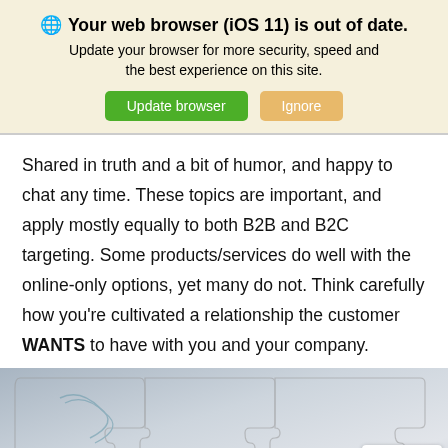🌐 Your web browser (iOS 11) is out of date. Update your browser for more security, speed and the best experience on this site.
Shared in truth and a bit of humor, and happy to chat any time. These topics are important, and apply mostly equally to both B2B and B2C targeting. Some products/services do well with the online-only options, yet many do not. Think carefully how you're cultivated a relationship the customer WANTS to have with you and your company.
[Figure (photo): Puzzle pieces background image with text 'When you need' at the bottom in blue]